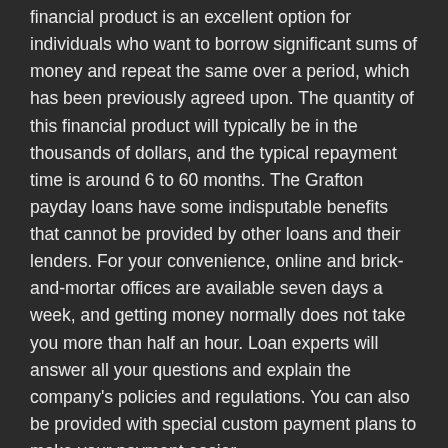financial product is an excellent option for individuals who want to borrow significant sums of money and repeat the same over a period, which has been previously agreed upon. The quantity of this financial product will typically be in the thousands of dollars, and the typical repayment time is around 6 to 60 months. The Grafton payday loans have some indisputable benefits that cannot be provided by other loans and their lenders. For your convenience, online and brick-and-mortar offices are available seven days a week, and getting money normally does not take you more than half an hour. Loan experts will answer all your questions and explain the company's policies and regulations. You can also be provided with special custom payment plans to make your payment easier. And when there's no other way to get cash in Grafton, WI – short term loans are useful. It gives people who are near the edge, who have irregular paychecks, whose credit is worse than others' a new start. Most Grafton online installment loans offer a secure and reliable application process. Everything is straightforward, and you don't have to worry about finding a physical store for this.